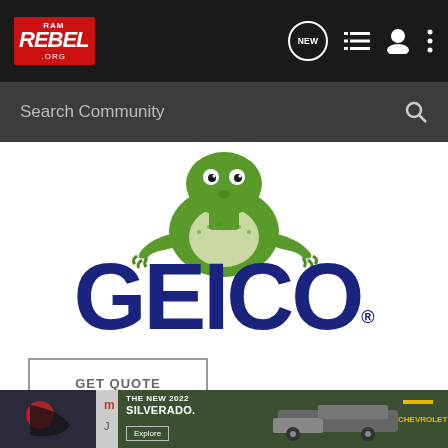RAM REBEL .ORG — Navigation bar with NEW, list, user, and menu icons
Search Community
[Figure (logo): GEICO insurance advertisement featuring the GEICO gecko mascot (green lizard) posed above the large GEICO logo in dark blue letters on white background, with a GET QUOTE button below]
[Figure (screenshot): The New 2022 Silverado Chevrolet advertisement banner at the bottom of the page]